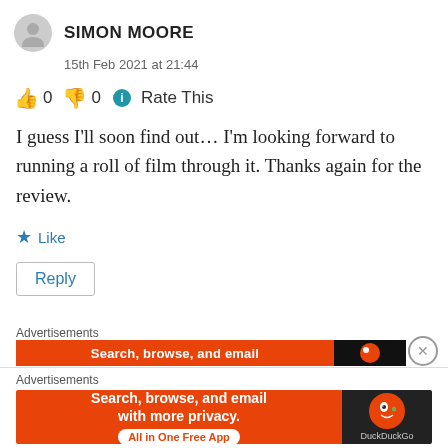SIMON MOORE
15th Feb 2021 at 21:44
👍 0 👎 0 ℹ Rate This
I guess I'll soon find out… I'm looking forward to running a roll of film through it. Thanks again for the review.
★ Like
Reply
Advertisements
Search, browse, and email
Advertisements
Search, browse, and email with more privacy. All in One Free App DuckDuckGo